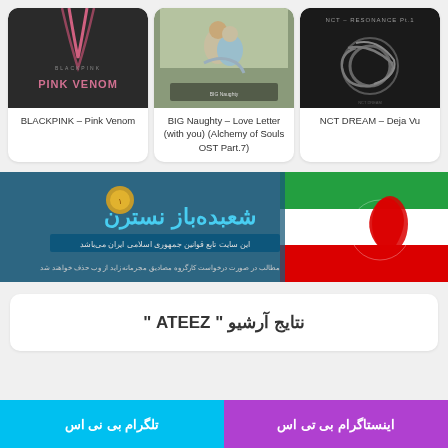[Figure (screenshot): BLACKPINK Pink Venom album cover - dark background with pink text]
BLACKPINK – Pink Venom
[Figure (screenshot): BIG Naughty Love Letter album cover - drama scene with couple]
BIG Naughty – Love Letter (with you) (Alchemy of Souls OST Part.7)
[Figure (screenshot): NCT DREAM Deja Vu - NCT Resonance Pt.1 album cover dark background]
NCT DREAM – Deja Vu
[Figure (screenshot): Iranian government website banner with Iranian flag and Persian text]
نتایج آرشیو " ATEEZ "
تلگرام بی نی اس
اینستاگرام بی تی اس